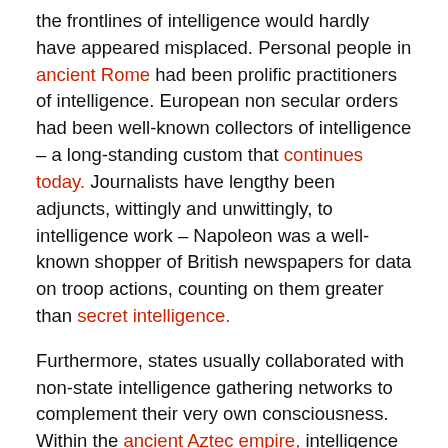the frontlines of intelligence would hardly have appeared misplaced. Personal people in ancient Rome had been prolific practitioners of intelligence. European non secular orders had been well-known collectors of intelligence – a long-standing custom that continues today. Journalists have lengthy been adjuncts, wittingly and unwittingly, to intelligence work – Napoleon was a well-known shopper of British newspapers for data on troop actions, counting on them greater than secret intelligence.
Furthermore, states usually collaborated with non-state intelligence gathering networks to complement their very own consciousness. Within the ancient Aztec empire, intelligence networks organized by retailers had been usually leveraged by the state. Within the age of European growth, business actors often engaged in espionage for personal in addition to state acquire – with European business actors from what to discuss the state in of…